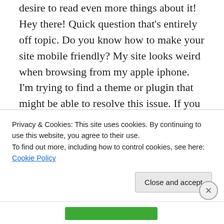desire to read even more things about it! Hey there! Quick question that's entirely off topic. Do you know how to make your site mobile friendly? My site looks weird when browsing from my apple iphone. I'm trying to find a theme or plugin that might be able to resolve this issue. If you have any suggestions, please share. Thanks! [url=http://www.tribunadevictoria.com.mx/info/?attachment_id=1177#comment-39153]Full Report[/url] Thanks for your posting. One other thing is when you are advertising your property
Privacy & Cookies: This site uses cookies. By continuing to use this website, you agree to their use.
To find out more, including how to control cookies, see here: Cookie Policy
Close and accept